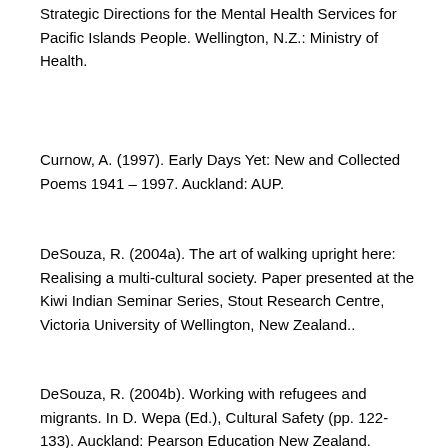Strategic Directions for the Mental Health Services for Pacific Islands People. Wellington, N.Z.: Ministry of Health.
Curnow, A. (1997). Early Days Yet: New and Collected Poems 1941 – 1997. Auckland: AUP.
DeSouza, R. (2004a). The art of walking upright here: Realising a multi-cultural society. Paper presented at the Kiwi Indian Seminar Series, Stout Research Centre, Victoria University of Wellington, New Zealand..
DeSouza, R. (2004b). Working with refugees and migrants. In D. Wepa (Ed.), Cultural Safety (pp. 122-133). Auckland: Pearson Education New Zealand.
DeSouza, R. (2006). Respon...